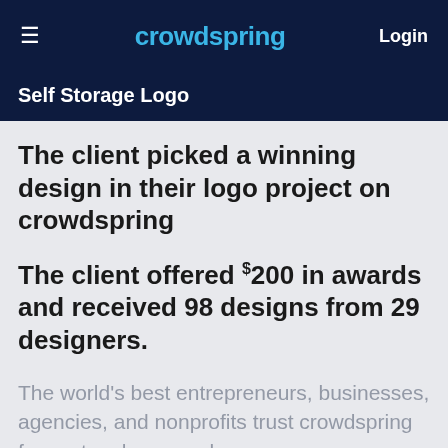crowdspring  Login
Self Storage Logo
The client picked a winning design in their logo project on crowdspring
The client offered $200 in awards and received 98 designs from 29 designers.
The world's best entrepreneurs, businesses, agencies, and nonprofits trust crowdspring for custom logo needs.